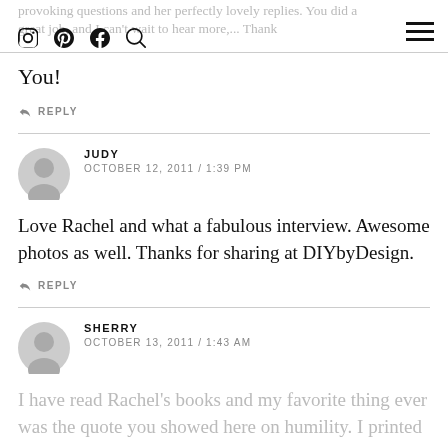provoking questions and her perfectly lovely replies. You did a great job, and I can't wait to hear more,... Thank You!
REPLY
JUDY
OCTOBER 12, 2011 / 1:39 PM
Love Rachel and what a fabulous interview. Awesome photos as well. Thanks for sharing at DIYbyDesign.
REPLY
SHERRY
OCTOBER 13, 2011 / 1:43 AM
I have read Rachel's books and my favorite thing ever was the quote you showed here on humility. I printed and h...